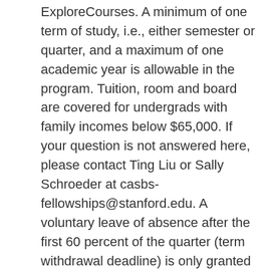ExploreCourses. A minimum of one term of study, i.e., either semester or quarter, and a maximum of one academic year is allowable in the program. Tuition, room and board are covered for undergrads with family incomes below $65,000. If your question is not answered here, please contact Ting Liu or Sally Schroeder at casbs-fellowships@stanford.edu. A voluntary leave of absence after the first 60 percent of the quarter (term withdrawal deadline) is only granted for approved health and emergency reasons. the tuition associated with a degree in the doctoral/professional category, if the other degree is in the master's category. For further information on degree options, please consult the Stanford Bulletin. 2020-21 Tuition Schedule This table represents tuition and fees for next year, 2020-21. For many University communications, email to a student's Stanford email account is the official form of